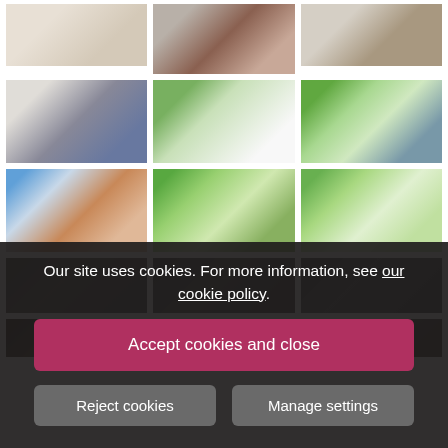[Figure (photo): Grid of property/cottage photos showing bedrooms, bathrooms, exterior cottage views, gardens, and grounds — 3 columns, 5 rows, partially obscured by cookie consent overlay]
Our site uses cookies. For more information, see our cookie policy.
Accept cookies and close
Reject cookies
Manage settings